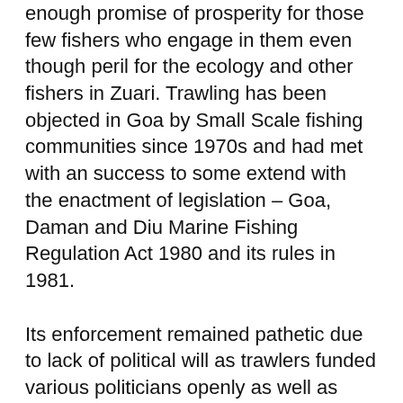enough promise of prosperity for those few fishers who engage in them even though peril for the ecology and other fishers in Zuari. Trawling has been objected in Goa by Small Scale fishing communities since 1970s and had met with an success to some extend with the enactment of legislation – Goa, Daman and Diu Marine Fishing Regulation Act 1980 and its rules in 1981.
Its enforcement remained pathetic due to lack of political will as trawlers funded various politicians openly as well as clandestinely. Zuari river fisheries entered turbulent phase in 2014 when large number of trawlers entered river and began carrying on illegal fishing. Fishers on northern banks objected to their intrusion and petitioned Goa Fisheries Department but did not find positive response with consistency.
Few times attempts were made by Fisheries Minister Palyenkar in 2017 to stop trawling in Zuari but after a